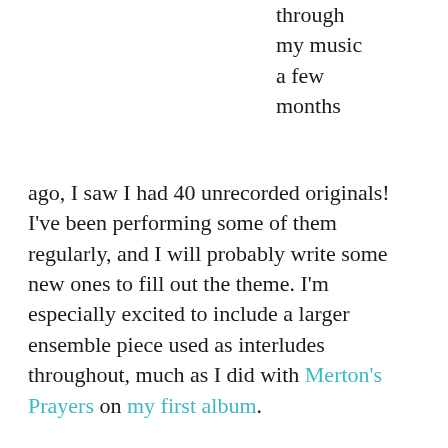through my music a few months ago, I saw I had 40 unrecorded originals! I've been performing some of them regularly, and I will probably write some new ones to fill out the theme. I'm especially excited to include a larger ensemble piece used as interludes throughout, much as I did with Merton's Prayers on my first album.
I'm playing with a lot of new people, introducing our musical collaborations on each of my nights in my monthly residency at Pearl Wine Co. The next one is on